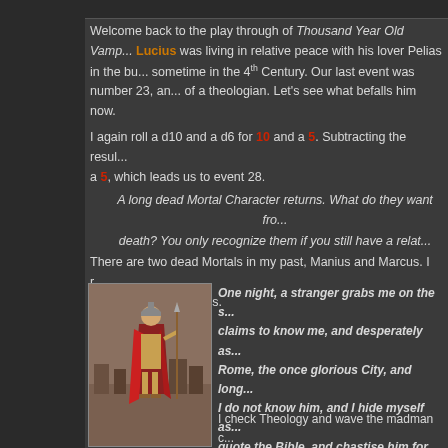Welcome back to the play through of Thousand Year Old Vampire. Lucius was living in relative peace with his lover Pelias in the bu... sometime in the 4th Century. Our last event was number 23, an... of a theologian. Let's see what befalls him now.
I again roll a d10 and a d6 for 10 and a 5. Subtracting the resul... a 5, which leads us to event 28.
A long dead Mortal Character returns. What do they want fro... death? You only recognize them if you still have a relat...
There are two dead Mortals in my past, Manius and Marcus. I r... and get a 2, for Marcus.
[Figure (illustration): Roman soldier in red cloak standing against a landscape background]
One night, a stranger grabs me on the s... claims to know me, and desperately as... Rome, the once glorious City, and long... I do not know him, and I hide myself as... quote the Bible, and chastise him for hi...
I check Theology and wave the madman c... convince him that I'm not who he thinks...